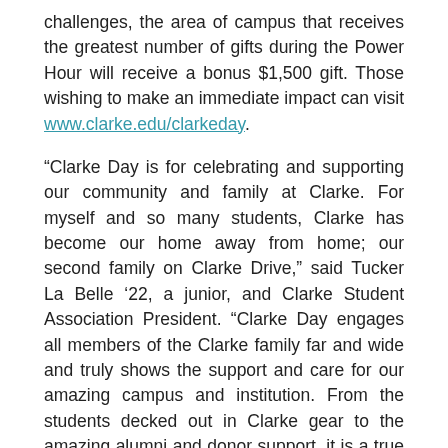challenges, the area of campus that receives the greatest number of gifts during the Power Hour will receive a bonus $1,500 gift. Those wishing to make an immediate impact can visit www.clarke.edu/clarkeday.
“Clarke Day is for celebrating and supporting our community and family at Clarke. For myself and so many students, Clarke has become our home away from home; our second family on Clarke Drive,” said Tucker La Belle ’22, a junior, and Clarke Student Association President. “Clarke Day engages all members of the Clarke family far and wide and truly shows the support and care for our amazing campus and institution. From the students decked out in Clarke gear to the amazing alumni and donor support, it is a true showing of what Clarke is all about!”